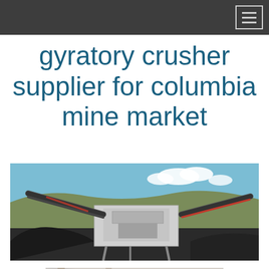gyratory crusher supplier for columbia mine market
[Figure (photo): Large mobile crushing plant / gyratory crusher equipment at an open-pit mine site with conveyor belts, blue sky with clouds, and rocky hillside in background]
[Figure (photo): Interior of an industrial building or processing facility with structural steel columns and roof trusses, partially visible]